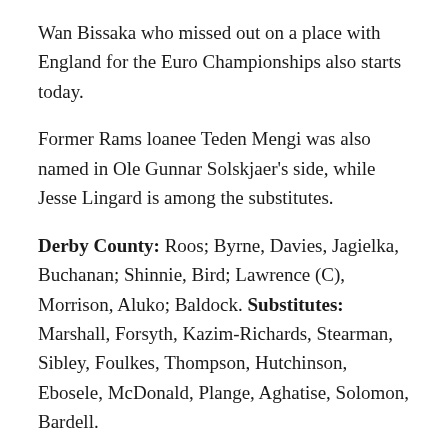Wan Bissaka who missed out on a place with England for the Euro Championships also starts today.
Former Rams loanee Teden Mengi was also named in Ole Gunnar Solskjaer's side, while Jesse Lingard is among the substitutes.
Derby County: Roos; Byrne, Davies, Jagielka, Buchanan; Shinnie, Bird; Lawrence (C), Morrison, Aluko; Baldock. Substitutes: Marshall, Forsyth, Kazim-Richards, Stearman, Sibley, Foulkes, Thompson, Hutchinson, Ebosele, McDonald, Plange, Aghatise, Solomon, Bardell.
Manchester United: Heaton, Mata (C), Greenwood,